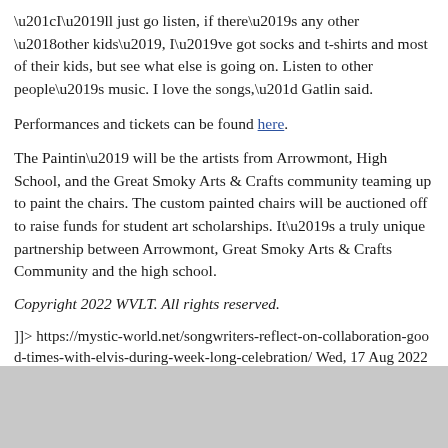“I’ll just go listen, if there’s any other ‘other kids’, I’ve got socks and t-shirts and most of their kids, but see what else is going on. Listen to other people’s music. I love the songs,” Gatlin said.
Performances and tickets can be found here.
The Paintin’ will be the artists from Arrowmont, High School, and the Great Smoky Arts & Crafts community teaming up to paint the chairs. The custom painted chairs will be auctioned off to raise funds for student art scholarships. It’s a truly unique partnership between Arrowmont, Great Smoky Arts & Crafts Community and the high school.
Copyright 2022 WVLT. All rights reserved.
]]> https://mystic-world.net/songwriters-reflect-on-collaboration-good-times-with-elvis-during-week-long-celebration/ Wed, 17 Aug 2022 22:52:53 +0000 https://mystic-world.net/songwriters-reflect-on-collaboration-good-times-with-elvis-during-week-long-celebration/
[Figure (photo): Gray rectangle at the bottom of the page]